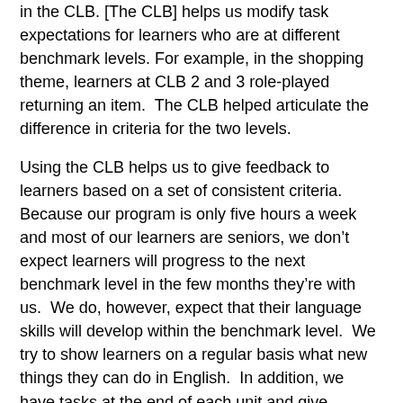in the CLB. [The CLB] helps us modify task expectations for learners who are at different benchmark levels. For example, in the shopping theme, learners at CLB 2 and 3 role-played returning an item.  The CLB helped articulate the difference in criteria for the two levels.
Using the CLB helps us to give feedback to learners based on a set of consistent criteria.  Because our program is only five hours a week and most of our learners are seniors, we don’t expect learners will progress to the next benchmark level in the few months they’re with us.  We do, however, expect that their language skills will develop within the benchmark level.  We try to show learners on a regular basis what new things they can do in English.  In addition, we have tasks at the end of each unit and give learners feedback on how they’re doing related to specific criteria we develop for that task.
One of our challenges is that learners sometimes identify things they want to do in English that are beyond the expectations for the CLB.  For example, some of the learners who were working at CLB 1 and 2 wanted to learn how to use the telephone, but that isn’t identified as a competency until higher benchmark levels. We decided to address this in